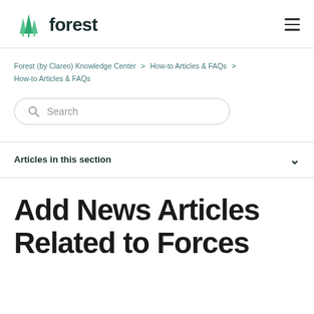forest
Forest (by Clareo) Knowledge Center > How-to Articles & FAQs > How-to Articles & FAQs
Search
Articles in this section
Add News Articles Related to Forces